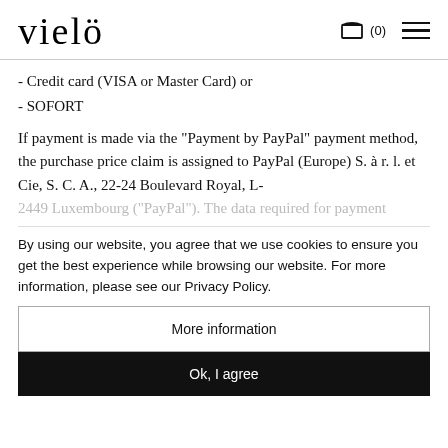vielö
- Credit card (VISA or Master Card) or
- SOFORT
If payment is made via the "Payment by PayPal" payment method, the purchase price claim is assigned to PayPal (Europe) S. à r. l. et Cie, S. C. A., 22-24 Boulevard Royal, L-2449 Luxembourg ("PayPal"). The data required for payment
By using our website, you agree that we use cookies to ensure you get the best experience while browsing our website. For more information, please see our Privacy Policy.
More information
Ok, I agree